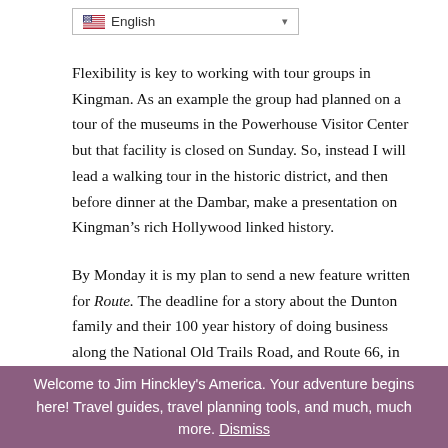[Figure (other): Language selector dropdown showing US flag and 'English' with dropdown arrow]
Flexibility is key to working with tour groups in Kingman. As an example the group had planned on a tour of the museums in the Powerhouse Visitor Center but that facility is closed on Sunday. So, instead I will lead a walking tour in the historic district, and then before dinner at the Dambar, make a presentation on Kingman’s rich Hollywood linked history.
By Monday it is my plan to send a new feature written for Route. The deadline for a story about the Dunton family and their 100 year history of doing business along the National Old Trails Road, and Route 66, in western Arizona is a couple weeks away but I want to clear the plate as much as possible.
Privacy & Cookies: This site uses cookies. By continuing to use this website, you agree to their use.
To find out more, including how to control cookies, see here: Cookie Policy
Welcome to Jim Hinckley's America. Your adventure begins here! Travel guides, travel planning tools, and much, much more. Dismiss